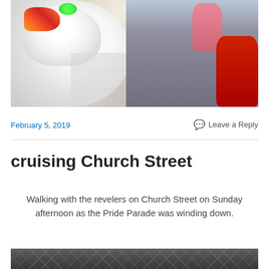[Figure (photo): Lion dance costume (white fluffy lion head with colorful decorations and green LED) reaching toward a group of elderly people seated in wheelchairs and standing, viewed from above. Tiled floor visible. People wearing pink, white, and red clothing.]
February 5, 2019
Leave a Reply
cruising Church Street
Walking with the revelers on Church Street on Sunday afternoon as the Pride Parade was winding down.
[Figure (photo): Bottom portion of a second photo showing what appears to be decorative lattice/architectural elements in dark tones.]